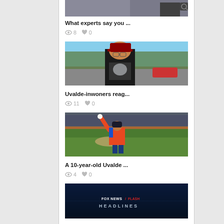[Figure (photo): Partial top of an article image showing a person and a dark background, cropped at top of page]
What experts say you ...
👁 8  ♥ 0
[Figure (photo): Man in a dark t-shirt and red cap standing outdoors in a parking lot area, trees visible in background]
Uvalde-inwoners reag...
👁 11  ♥ 0
[Figure (photo): Young girl in orange baseball uniform throwing a pitch on a baseball field]
A 10-year-old Uvalde ...
👁 4  ♥ 0
[Figure (photo): Fox News Flash Headlines title card with dark blue background and white/red text]